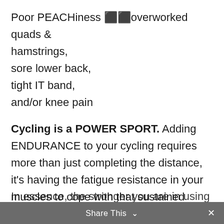Poor PEACHiness ⬛⬛overworked quads & hamstrings,
sore lower back,
tight IT band,
and/or knee pain
Cycling is a POWER SPORT. Adding ENDURANCE to your cycling requires more than just completing the distance, it's having the fatigue resistance in your muscles to cope with that sustained power for a long period of time. You MUST then tap into MUSCLE endurance.
Share This ∨  ×
In essence, the stronger you are in using